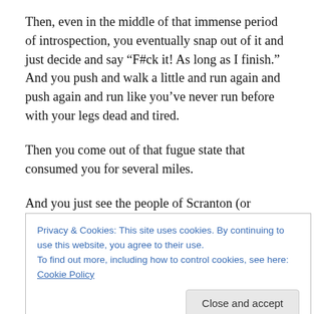Then, even in the middle of that immense period of introspection, you eventually snap out of it and just decide and say “F#ck it! As long as I finish.” And you push and walk a little and run again and push again and run like you’ve never run before with your legs dead and tired.
Then you come out of that fugue state that consumed you for several miles.
And you just see the people of Scranton (or Steamtown)
Privacy & Cookies: This site uses cookies. By continuing to use this website, you agree to their use.
To find out more, including how to control cookies, see here: Cookie Policy
[Figure (photo): Partial view of a photograph at the bottom of the page, appears to show a person or object, mostly cut off]